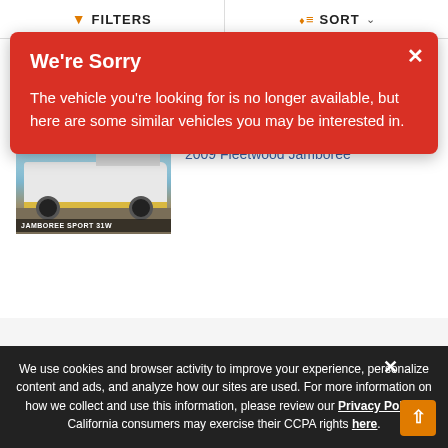FILTERS   SORT
We're Sorry
The vehicle you're looking for is no longer available, but here are some similar vehicles you may be interested in.
View Inventory
View Dealer Website
[Figure (photo): Photo of a 2009 Fleetwood Jamboree Sport 31W motorhome RV]
$54,000
2009 Fleetwood Jamboree
We use cookies and browser activity to improve your experience, personalize content and ads, and analyze how our sites are used. For more information on how we collect and use this information, please review our Privacy Policy. California consumers may exercise their CCPA rights here.